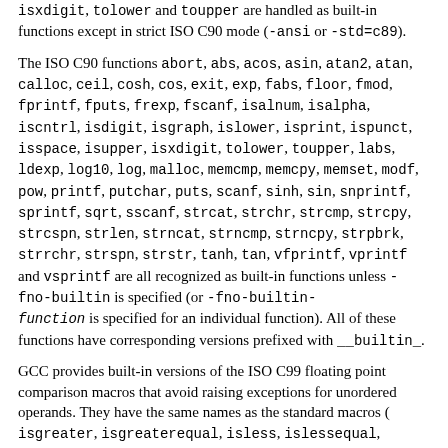isxdigit, tolower and toupper are handled as built-in functions except in strict ISO C90 mode (-ansi or -std=c89).
The ISO C90 functions abort, abs, acos, asin, atan2, atan, calloc, ceil, cosh, cos, exit, exp, fabs, floor, fmod, fprintf, fputs, frexp, fscanf, isalnum, isalpha, iscntrl, isdigit, isgraph, islower, isprint, ispunct, isspace, isupper, isxdigit, tolower, toupper, labs, ldexp, log10, log, malloc, memcmp, memcpy, memset, modf, pow, printf, putchar, puts, scanf, sinh, sin, snprintf, sprintf, sqrt, sscanf, strcat, strchr, strcmp, strcpy, strcspn, strlen, strncat, strncmp, strncpy, strpbrk, strrchr, strspn, strstr, tanh, tan, vfprintf, vprintf and vsprintf are all recognized as built-in functions unless -fno-builtin is specified (or -fno-builtin-function is specified for an individual function). All of these functions have corresponding versions prefixed with __builtin_.
GCC provides built-in versions of the ISO C99 floating point comparison macros that avoid raising exceptions for unordered operands. They have the same names as the standard macros ( isgreater, isgreaterequal, isless, islessequal, islessgreater, and isunordered) , with __builtin_ prefixed. We intend for a library implementor to be able to simply #define each standard macro to its built-in equivalent.
— Built-in Function: int    builtin_types_compatible_p (type1,